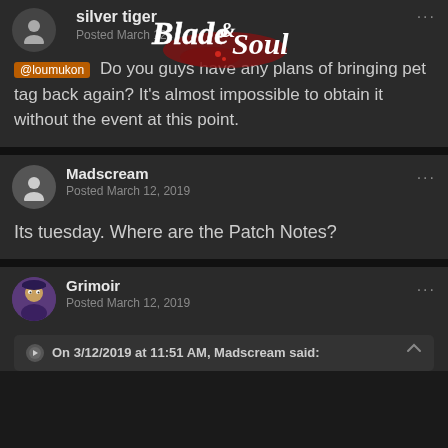silver tiger
Posted March 12, [2019]
@loumukon Do you guys have any plans of bringing pet tag back again? It's almost impossible to obtain it without the event at this point.
Madscream
Posted March 12, 2019
Its tuesday. Where are the Patch Notes?
Grimoir
Posted March 12, 2019
On 3/12/2019 at 11:51 AM, Madscream said: